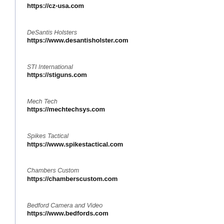https://cz-usa.com
DeSantis Holsters
https://www.desantisholster.com
STI International
https://stiguns.com
Mech Tech
https://mechtechsys.com
Spikes Tactical
https://www.spikestactical.com
Chambers Custom
https://chamberscustom.com
Bedford Camera and Video
https://www.bedfords.com
Direct download: Lock N Load with Bill Frady Fr...